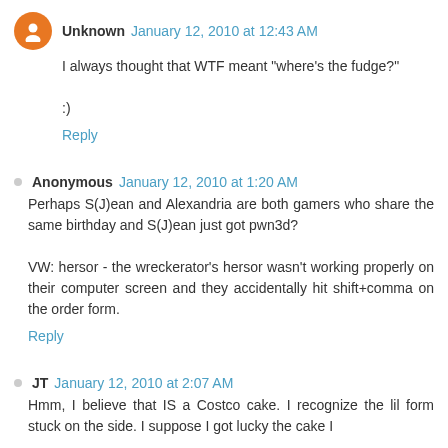Unknown   January 12, 2010 at 12:43 AM
I always thought that WTF meant "where's the fudge?"
:)
Reply
Anonymous   January 12, 2010 at 1:20 AM
Perhaps S(J)ean and Alexandria are both gamers who share the same birthday and S(J)ean just got pwn3d?
VW: hersor - the wreckerator's hersor wasn't working properly on their computer screen and they accidentally hit shift+comma on the order form.
Reply
JT   January 12, 2010 at 2:07 AM
Hmm, I believe that IS a Costco cake. I recognize the lil form stuck on the side. I suppose I got lucky the cake I